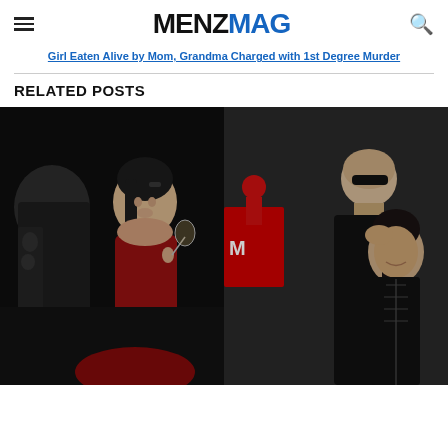MENZMAG
Girl Eaten Alive by Mom, Grandma Charged with 1st Degree Murder
RELATED POSTS
[Figure (photo): Two side-by-side celebrity couple photos: left photo shows a tattooed man with a woman in a red dress holding a champagne glass at a dark event; right photo shows the same couple at what appears to be the MTV VMAs, with the man in a black suit and the woman in a black leather strapless corset dress.]